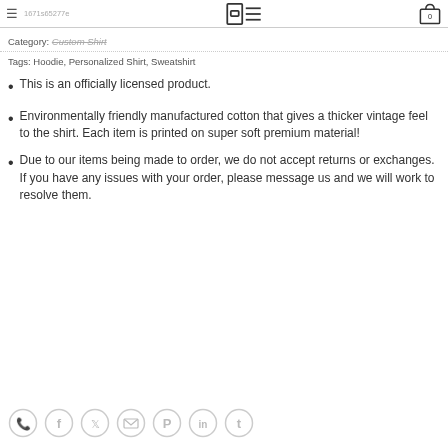1671s65277e
Category: Custom Shirt
Tags: Hoodie, Personalized Shirt, Sweatshirt
This is an officially licensed product.
Environmentally friendly manufactured cotton that gives a thicker vintage feel to the shirt. Each item is printed on super soft premium material!
Due to our items being made to order, we do not accept returns or exchanges. If you have any issues with your order, please message us and we will work to resolve them.
[Figure (other): Row of social sharing icon buttons: WhatsApp, Facebook, Twitter, Email, Pinterest, LinkedIn, Tumblr]